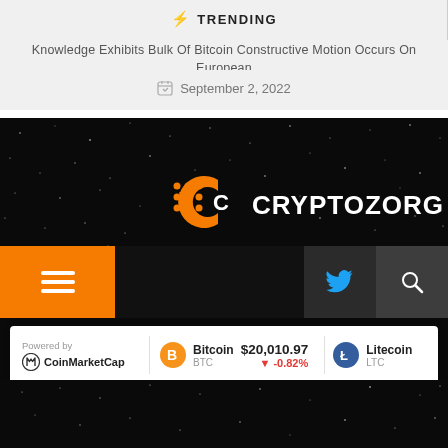⚡ TRENDING
Knowledge Exhibits Bulk Of Bitcoin Constructive Motion Occurs On European
September 2, 2022
[Figure (logo): CryptoZorg logo on dark starry background with orange and white branding]
[Figure (screenshot): Website navigation bar with orange hamburger menu, Twitter bird icon, and search icon on dark background]
[Figure (infographic): Crypto ticker widget: Powered by CoinMarketCap. Bitcoin BTC $20,010.97 -0.82%. Litecoin LTC.]